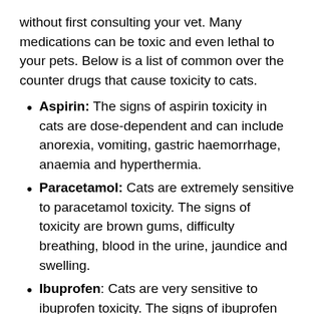without first consulting your vet. Many medications can be toxic and even lethal to your pets. Below is a list of common over the counter drugs that cause toxicity to cats.
Aspirin: The signs of aspirin toxicity in cats are dose-dependent and can include anorexia, vomiting, gastric haemorrhage, anaemia and hyperthermia.
Paracetamol: Cats are extremely sensitive to paracetamol toxicity. The signs of toxicity are brown gums, difficulty breathing, blood in the urine, jaundice and swelling.
Ibuprofen: Cats are very sensitive to ibuprofen toxicity. The signs of ibuprofen toxicity in cats are vomiting, depression, anorexia and diarrhoea.
Human topical pain medication containing the nonsteroidal anti-inflammatory drug NSAID (for